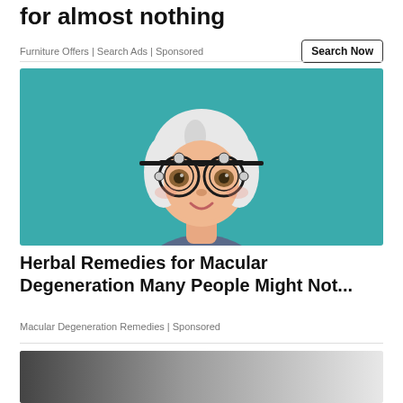for almost nothing
Furniture Offers | Search Ads | Sponsored
[Figure (illustration): Illustration of an elderly woman with white hair wearing optometrist trial frame glasses, on a teal background]
Herbal Remedies for Macular Degeneration Many People Might Not...
Macular Degeneration Remedies | Sponsored
[Figure (photo): Partially visible photo at bottom of page, dark gradient image]